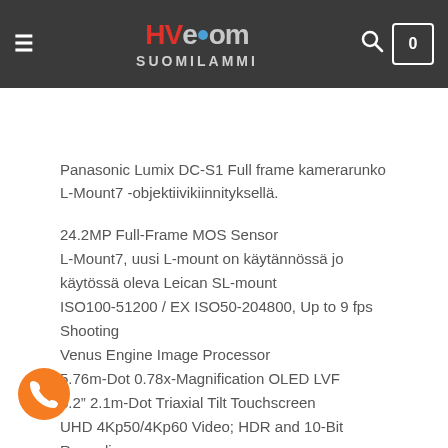HV-ecom Suomilammi — navigation header with logo, search and cart
Kuvaus
Panasonic Lumix DC-S1 Full frame kamerarunko L-Mount7 -objektiivikiinnityksellä.
24.2MP Full-Frame MOS Sensor
L-Mount7, uusi L-mount on käytännössä jo käytössä oleva Leican SL-mount
ISO100-51200 / EX ISO50-204800, Up to 9 fps Shooting
Venus Engine Image Processor
5.76m-Dot 0.78x-Magnification OLED LVF
3.2" 2.1m-Dot Triaxial Tilt Touchscreen
UHD 4Kp50/4Kp60 Video; HDR and 10-Bit Recording